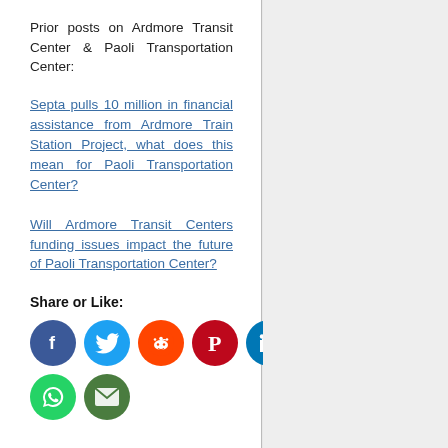Prior posts on Ardmore Transit Center & Paoli Transportation Center:
Septa pulls 10 million in financial assistance from Ardmore Train Station Project, what does this mean for Paoli Transportation Center?
Will Ardmore Transit Centers funding issues impact the future of Paoli Transportation Center?
Share or Like:
[Figure (infographic): Social media sharing icons: Facebook (blue), Twitter (light blue), Reddit (orange), Pinterest (red), LinkedIn (blue), WhatsApp (green), Email (dark green)]